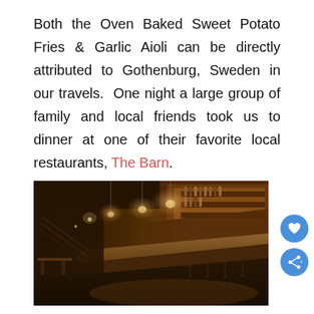Both the Oven Baked Sweet Potato Fries & Garlic Aioli can be directly attributed to Gothenburg, Sweden in our travels.  One night a large group of family and local friends took us to dinner at one of their favorite local restaurants, The Barn.
[Figure (photo): Interior of The Barn restaurant showing a warm, dimly lit bar area with brick walls, pendant Edison bulb lights, a long wooden bar counter, bar stools, and shelves of bottles behind the bar.]